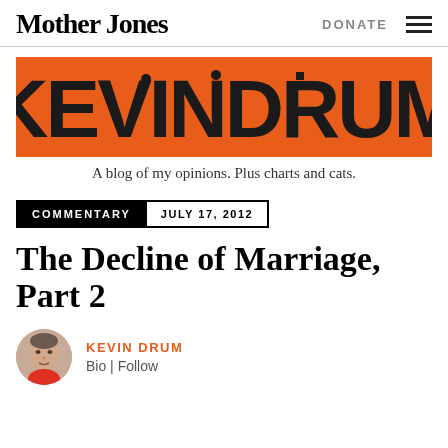Mother Jones | DONATE
[Figure (illustration): Kevin Drum blog banner with orange background and stylized black decorative lettering spelling KEVINDRUM]
A blog of my opinions. Plus charts and cats.
COMMENTARY JULY 17, 2012
The Decline of Marriage, Part 2
KEVIN DRUM
Bio | Follow